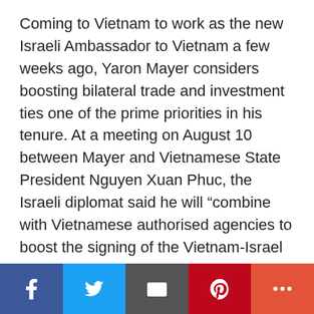Coming to Vietnam to work as the new Israeli Ambassador to Vietnam a few weeks ago, Yaron Mayer considers boosting bilateral trade and investment ties one of the prime priorities in his tenure. At a meeting on August 10 between Mayer and Vietnamese State President Nguyen Xuan Phuc, the Israeli diplomat said he will “combine with Vietnamese authorised agencies to boost the signing of the Vietnam-Israel Free Trade Agreement (VIFTA) which will help both nations expand bilateral ties in trade and investment.” Two-way trade hit about $2 billion last year, up 20 per cent on-year, and the figure is set to be $10 billion when the VIFTA will become valid. The figure hit